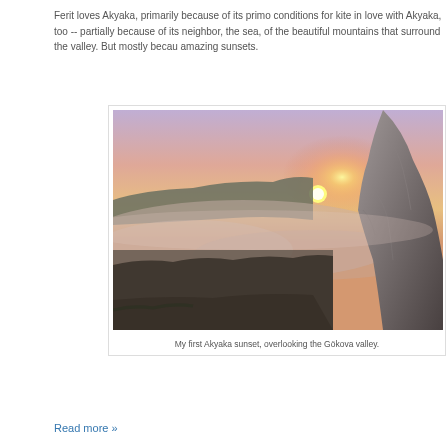Ferit loves Akyaka, primarily because of its primo conditions for kite in love with Akyaka, too -- partially because of its neighbor, the sea, of the beautiful mountains that surround the valley. But mostly becau amazing sunsets.
[Figure (photo): Mountain sunset landscape with misty valley, showing the Gökova valley from above with rocky cliffs on the right, low clouds and mist over forested valley, and a bright yellow sun setting through pink and purple sky.]
My first Akyaka sunset, overlooking the Gökova valley.
Read more »